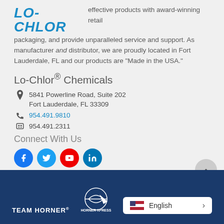[Figure (logo): LO-CHLOR brand logo in bold italic blue uppercase text]
effective products with award-winning retail packaging, and provide unparalleled service and support. As manufacturer and distributor, we are proudly located in Fort Lauderdale, FL and our products are "Made in the USA."
Lo-Chlor® Chemicals
5841 Powerline Road, Suite 202
Fort Lauderdale, FL 33309
954.491.9810
954.491.2311
Connect With Us
[Figure (infographic): Social media icons: Facebook (blue circle), Twitter (blue circle), YouTube (red circle), LinkedIn (dark blue circle)]
TEAM HORNER® | HORNER XPRESS logo | English language selector